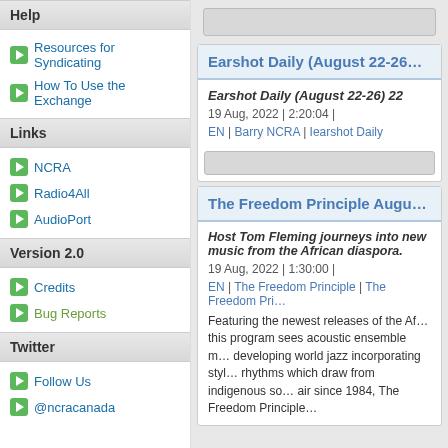Help
Resources for Syndicating
How To Use the Exchange
Links
NCRA
Radio4All
AudioPort
Version 2.0
Credits
Bug Reports
Twitter
Follow Us
@ncracanada
Earshot Daily (August 22-26…
Earshot Daily (August 22-26) 22
19 Aug, 2022 | 2:20:04 |
EN | Barry NCRA | Iearshot Daily
The Freedom Principle Augu…
Host Tom Fleming journeys into new music from the African diaspora.
19 Aug, 2022 | 1:30:00 |
EN | The Freedom Principle | The Freedom Pri…
Featuring the newest releases of the Af… this program sees acoustic ensemble m… developing world jazz incorporating styl… rhythms which draw from indigenous so… air since 1984, The Freedom Principle…